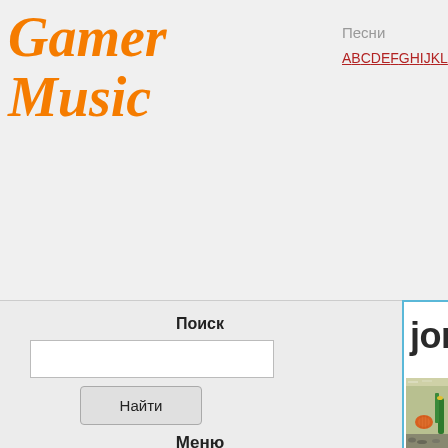Gamer Music
Песни
A B C D E F G H I J K L M N O P Q R S T U V W
Поиск
Найти
Меню
Композиции
Певцы
Новости
Обсуждения
Кино
jonas brothers pl
[Figure (photo): Aquarium with fish, orange discus fish visible, green plants, rocks]